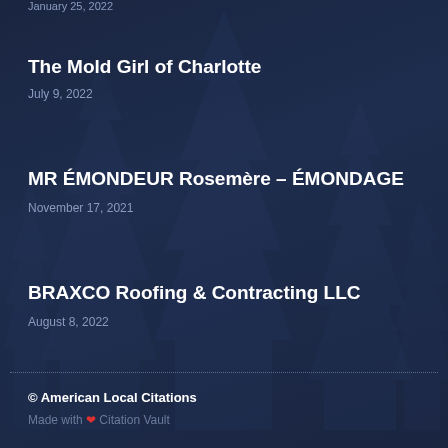January 25, 2022
The Mold Girl of Charlotte
July 9, 2022
MR ÉMONDEUR Rosemère – ÉMONDAGE
November 17, 2021
BRAXCO Roofing & Contracting LLC
August 8, 2022
© American Local Citations
Made with ❤ Citation Vault